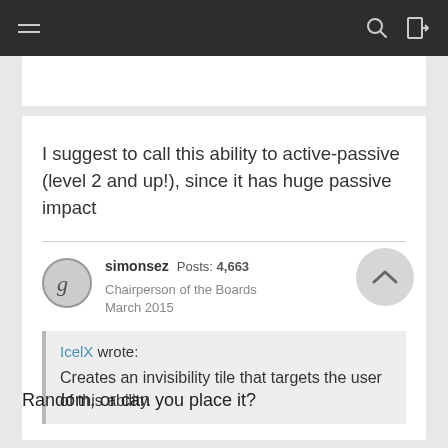Navigation bar with menu, search, and login icons
I suggest to call this ability to active-passive (level 2 and up!), since it has huge passive impact
simonsez  Posts: 4,663  Chairperson of the Boards  March 2015
IcelX wrote:
Creates an invisibility tile that targets the user of this ability.
Random, or can you place it?